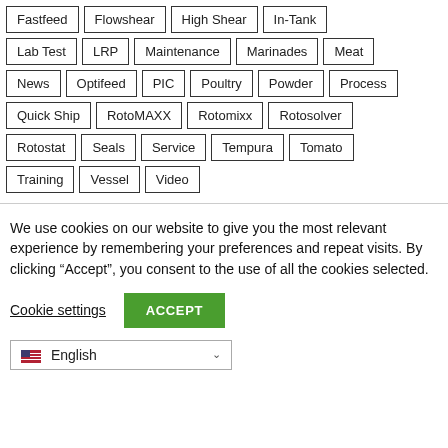Fastfeed
Flowshear
High Shear
In-Tank
Lab Test
LRP
Maintenance
Marinades
Meat
News
Optifeed
PIC
Poultry
Powder
Process
Quick Ship
RotoMAXX
Rotomixx
Rotosolver
Rotostat
Seals
Service
Tempura
Tomato
Training
Vessel
Video
We use cookies on our website to give you the most relevant experience by remembering your preferences and repeat visits. By clicking “Accept”, you consent to the use of all the cookies selected.
Cookie settings  ACCEPT
English